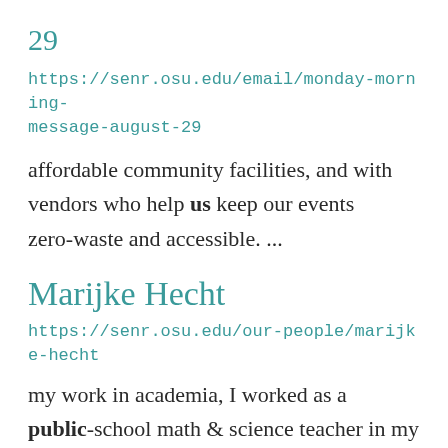29
https://senr.osu.edu/email/monday-morning-message-august-29
affordable community facilities, and with vendors who help us keep our events zero-waste and accessible. ...
Marijke Hecht
https://senr.osu.edu/our-people/marijke-hecht
my work in academia, I worked as a public-school math & science teacher in my hometown of NYC and ... restoration, one of the largest urban stream restorations in the U.S., and managing the design and construction... of the Erick